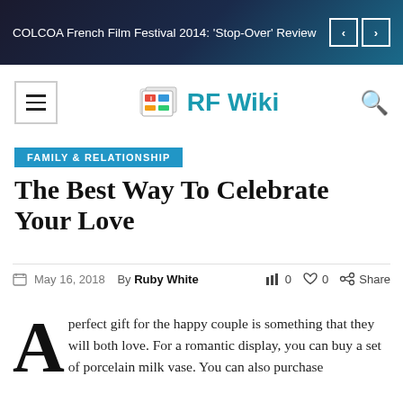COLCOA French Film Festival 2014: 'Stop-Over' Review
[Figure (logo): RF Wiki logo with hamburger menu and search icon]
FAMILY & RELATIONSHIP
The Best Way To Celebrate Your Love
May 16, 2018  By Ruby White  0  0  Share
A perfect gift for the happy couple is something that they will both love. For a romantic display, you can buy a set of porcelain milk vase. You can also purchase